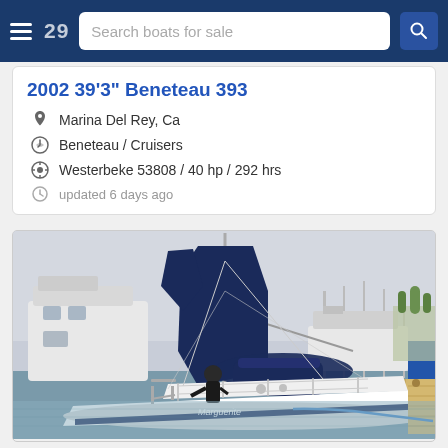Search boats for sale
2002 39'3" Beneteau 393
Marina Del Rey, Ca
Beneteau / Cruisers
Westerbeke 53808 / 40 hp / 292 hrs
updated 6 days ago
[Figure (photo): Sailboat named Marguerite docked at a marina in Marina Del Rey, CA. The boat is white with navy blue sail covers and canvas. Several other boats and a dock are visible in the background.]